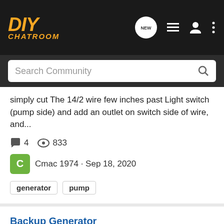DIY CHATROOM
Search Community
simply cut The 14/2 wire few inches past Light switch (pump side) and add an outlet on switch side of wire, and...
4 comments · 833 views
Cmac 1974 · Sep 18, 2020
generator
pump
Backup Generator
Electrical
I am considering a backup generator for my home. I live in a cold climate. Our only source of heat is a gas furnace that relies on electricity to run the fan. I am concerned a power failure will leave us freezing, literally. I would like a system that will keep the heat running in the case...